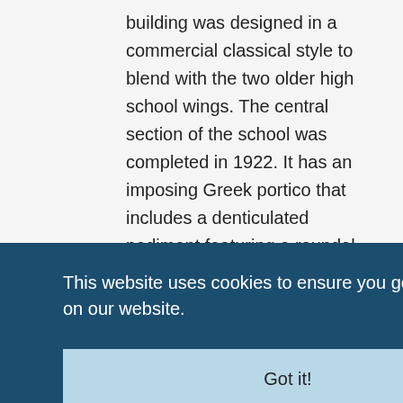building was designed in a commercial classical style to blend with the two older high school wings. The central section of the school was completed in 1922. It has an imposing Greek portico that includes a denticulated pediment featuring a roundel with a portrait of Plato. A grand classical staircase leads to the school's porch and the piano nobile. This section housed
This website uses cookies to ensure you get the best experience on our website.
Got it!
800-
t. The
ol were
nusual
of local
the
school's central bay is one of only three such